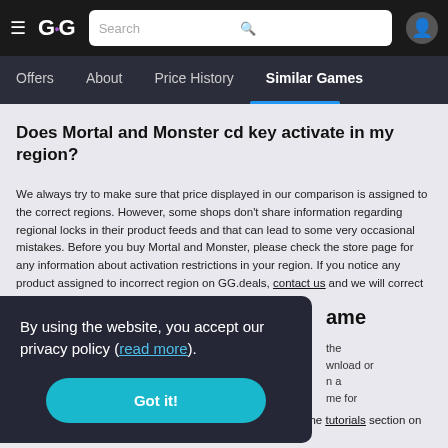GG.deals navigation bar with Search, Offers, About, Price History, Similar Games tabs
Does Mortal and Monster cd key activate in my region?
We always try to make sure that price displayed in our comparison is assigned to the correct regions. However, some shops don't share information regarding regional locks in their product feeds and that can lead to some very occasional mistakes. Before you buy Mortal and Monster, please check the store page for any information about activation restrictions in your region. If you notice any product assigned to incorrect region on GG.deals, contact us and we will correct the listing as soon as possible.
By using the website, you accept our privacy policy (read more).
Got it!
ame
the download or in a ame for free. If you don't know how to activate the key, check out the tutorials section on the bottom of th...